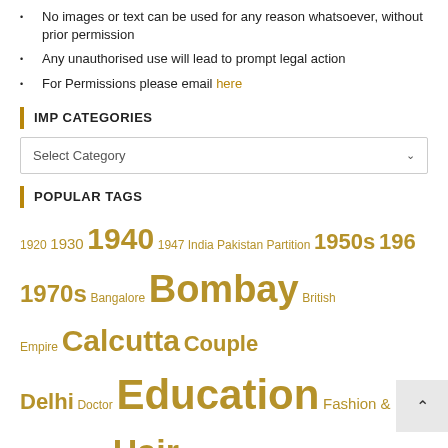No images or text can be used for any reason whatsoever, without prior permission
Any unauthorised use will lead to prompt legal action
For Permissions please email here
IMP CATEGORIES
Select Category
POPULAR TAGS
1920 1930 1940 1947 India Pakistan Partition 1950s 196 1970s Bangalore Bombay British Empire Calcutta Couple Delhi Doctor Education Fashion & Trends Gujarat Hair Styles Head Gear Hyderabad Indian Politics Jewellery Lahore